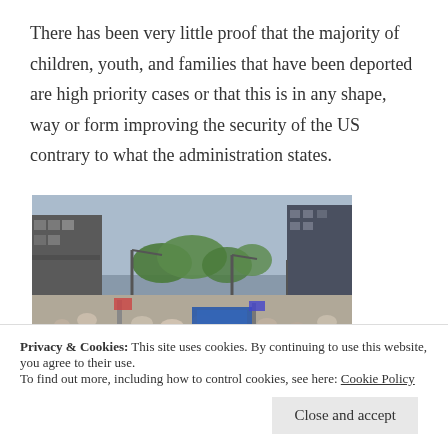There has been very little proof that the majority of children, youth, and families that have been deported are high priority cases or that this is in any shape, way or form improving the security of the US contrary to what the administration states.
[Figure (photo): Aerial view of a massive crowd of people filling a city street during what appears to be a large protest or march, with tall buildings visible on either side and green trees in the background.]
Privacy & Cookies: This site uses cookies. By continuing to use this website, you agree to their use.
To find out more, including how to control cookies, see here: Cookie Policy
Close and accept